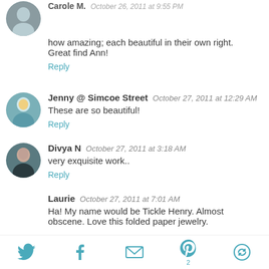Carole M. October 26, 2011 at 9:55 PM
how amazing; each beautiful in their own right. Great find Ann!
Reply
Jenny @ Simcoe Street  October 27, 2011 at 12:29 AM
These are so beautiful!
Reply
Divya N  October 27, 2011 at 3:18 AM
very exquisite work..
Reply
Laurie  October 27, 2011 at 7:01 AM
Ha! My name would be Tickle Henry. Almost obscene. Love this folded paper jewelry.
[Figure (other): Social sharing bar with Twitter, Facebook, email, Pinterest (count: 2), and another icon]